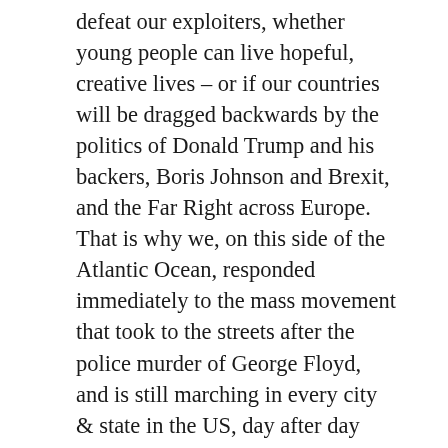defeat our exploiters, whether young people can live hopeful, creative lives – or if our countries will be dragged backwards by the politics of Donald Trump and his backers, Boris Johnson and Brexit, and the Far Right across Europe. That is why we, on this side of the Atlantic Ocean, responded immediately to the mass movement that took to the streets after the police murder of George Floyd, and is still marching in every city & state in the US, day after day and week after week.
A future without racism requires the defeat of racist policies that blame immigrants and black youth for the failures of government to meet the needs of poor, exploited and oppressed